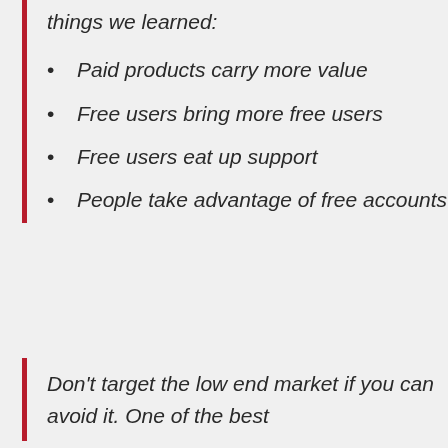things we learned:
Paid products carry more value
Free users bring more free users
Free users eat up support
People take advantage of free accounts
Don't target the low end market if you can avoid it. One of the best